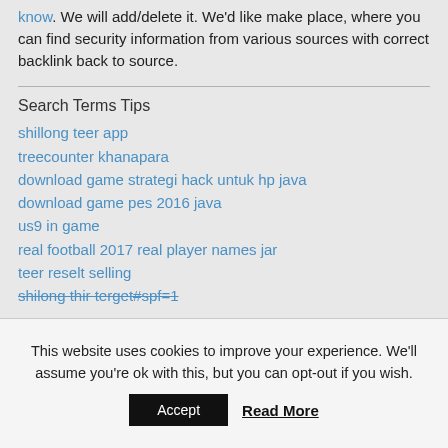know. We will add/delete it. We'd like make place, where you can find security information from various sources with correct backlink back to source.
Search Terms Tips
shillong teer app
treecounter khanapara
download game strategi hack untuk hp java
download game pes 2016 java
us9 in game
real football 2017 real player names jar
teer reselt selling
shilong thir terget#spf=1
This website uses cookies to improve your experience. We'll assume you're ok with this, but you can opt-out if you wish.